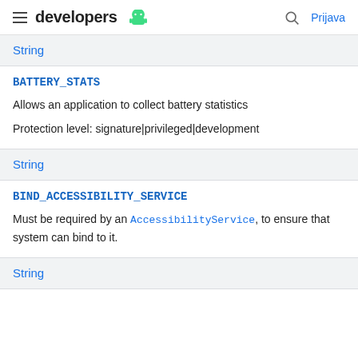developers | Prijava
String
BATTERY_STATS
Allows an application to collect battery statistics
Protection level: signature|privileged|development
String
BIND_ACCESSIBILITY_SERVICE
Must be required by an AccessibilityService, to ensure that system can bind to it.
String